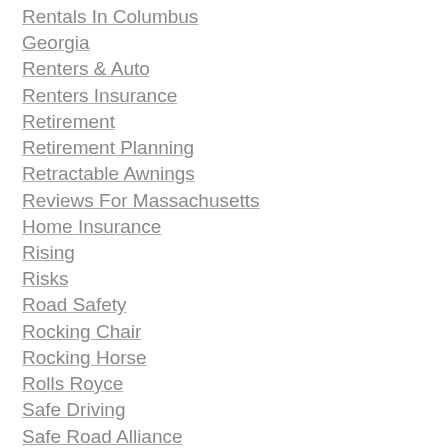Rentals In Columbus Georgia
Renters & Auto
Renters Insurance
Retirement
Retirement Planning
Retractable Awnings
Reviews For Massachusetts Home Insurance
Rising
Risks
Road Safety
Rocking Chair
Rocking Horse
Rolls Royce
Safe Driving
Safe Road Alliance
Safety Insurance
Sandwich